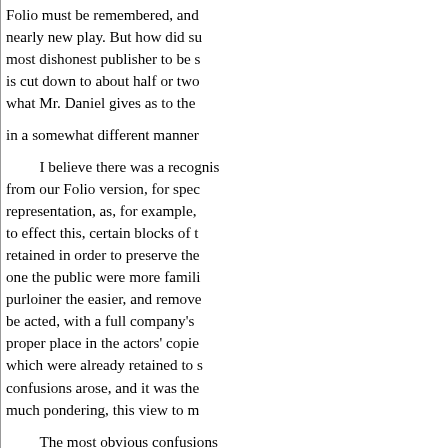Folio must be remembered, and nearly new play. But how did su most dishonest publisher to be s is cut down to about half or two what Mr. Daniel gives as to the
in a somewhat different manner
I believe there was a recognis from our Folio version, for spec representation, as, for example, to effect this, certain blocks of t retained in order to preserve the one the public were more famili purloiner the easier, and remove be acted, with a full company's proper place in the actors' copie which were already retained to s confusions arose, and it was the much pondering, this view to m
The most obvious confusions mentioned in connection with F can only be set right by the alte
This is not, happily, the provi